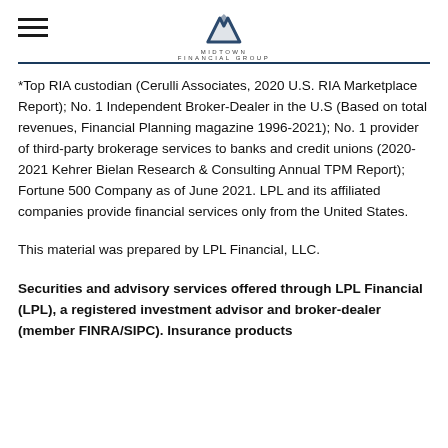Midtown Financial Group logo and navigation
*Top RIA custodian (Cerulli Associates, 2020 U.S. RIA Marketplace Report); No. 1 Independent Broker-Dealer in the U.S (Based on total revenues, Financial Planning magazine 1996-2021); No. 1 provider of third-party brokerage services to banks and credit unions (2020-2021 Kehrer Bielan Research & Consulting Annual TPM Report); Fortune 500 Company as of June 2021. LPL and its affiliated companies provide financial services only from the United States.
This material was prepared by LPL Financial, LLC.
Securities and advisory services offered through LPL Financial (LPL), a registered investment advisor and broker-dealer (member FINRA/SIPC). Insurance products